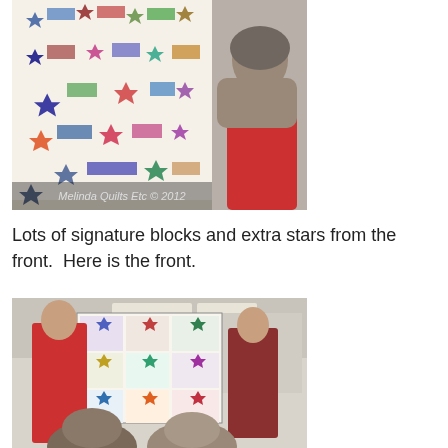[Figure (photo): Close-up of a quilt displayed at a gathering, showing colorful signature blocks and multi-pointed star patterns on a white background. Watermark reads 'Melinda Quilts Etc © 2012'. A person with grey hair is visible in the foreground.]
Lots of signature blocks and extra stars from the front.  Here is the front.
[Figure (photo): Photo of two people holding up a colorful quilt in a community room. The quilt features large star blocks in various colors on white and colored backgrounds. Audience members are visible in the foreground.]